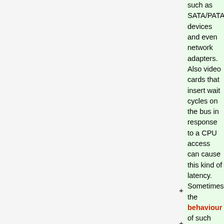such as SATA/PATA/SCSI devices and even network adapters. Also video cards that insert wait cycles on the bus in response to a CPU access can cause this kind of latency. Sometimes the behaviour of such peripherals can be controlled from the driver, trading off throughput for lower latency. The negative impact of bus mastering is independent from the chosen OS, so this is not a unique problem for Linux-RT, even other RTOS-es experience these type of latency!